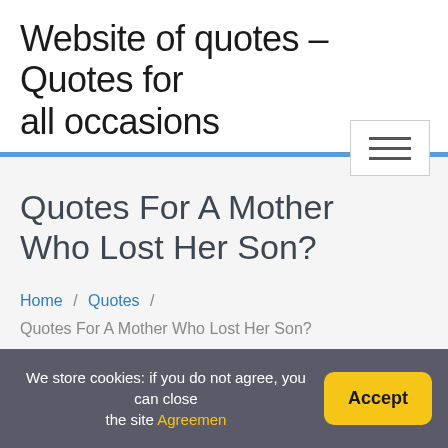Website of quotes – Quotes for all occasions
Quotes For A Mother Who Lost Her Son?
Home / Quotes / Quotes For A Mother Who Lost Her Son?
We store cookies: if you do not agree, you can close the site Agreemen